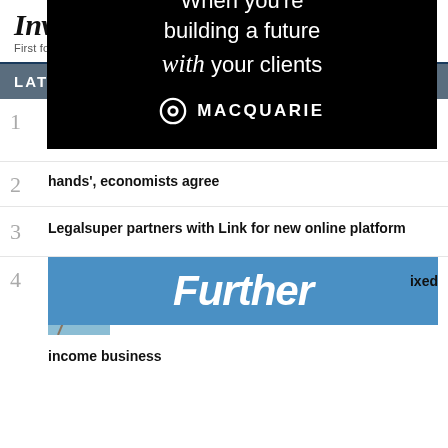InvestorDaily — First for investment industry news
[Figure (advertisement): Macquarie advertisement: 'When you're building a future with your clients' with Macquarie logo on black background]
LATEST
1 [article title partially obscured by ad]
2 hands', economists agree
3 Legalsuper partners with Link for new online platform
[Figure (advertisement): Further advertisement banner in blue]
4 [partially obscured] fixed income business